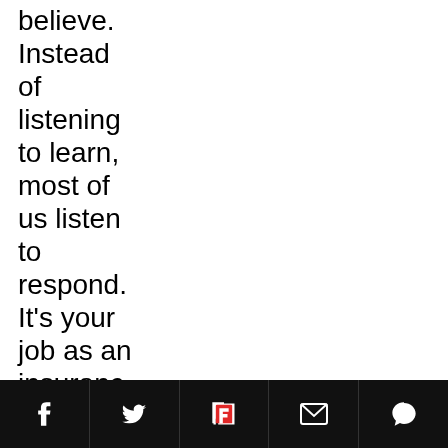believe. Instead of listening to learn, most of us listen to respond. It's your job as an insurance agent to figure out what goods
[social share icons: Facebook, Twitter, Flipboard, Email, Comment]